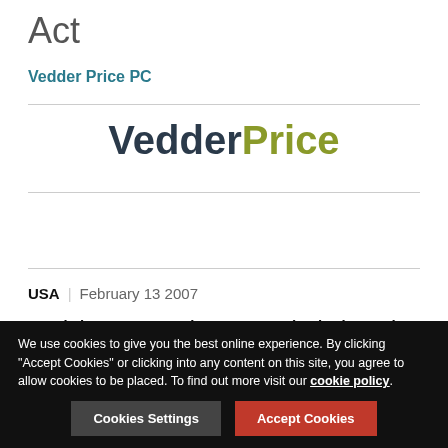Act
Vedder Price PC
[Figure (logo): VedderPrice logo with 'Vedder' in dark navy and 'Price' in olive/yellow-green]
USA | February 13 2007
Bruckelmyer v. Ground Heaters, Inc. (Fed. Cir. 2006)
Under certain circumstances, the Court of Appeals for the Federal Circuit...
We use cookies to give you the best online experience. By clicking "Accept Cookies" or clicking into any content on this site, you agree to allow cookies to be placed. To find out more visit our cookie policy.